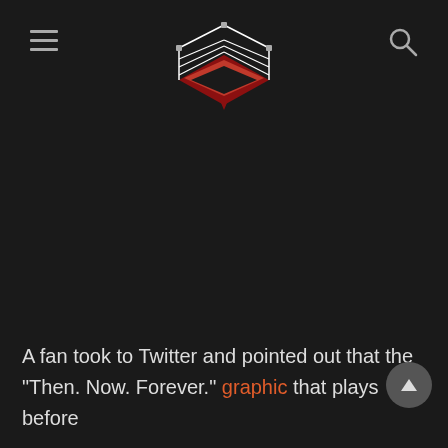[Wrestling news site header with hamburger menu, logo (wrestling ring icon), and search icon]
[Figure (logo): Wrestling ring logo icon — a red and black wrestling ring viewed from an isometric angle with white ropes, centered in the page header]
A fan took to Twitter and pointed out that the "Then. Now. Forever." graphic that plays before